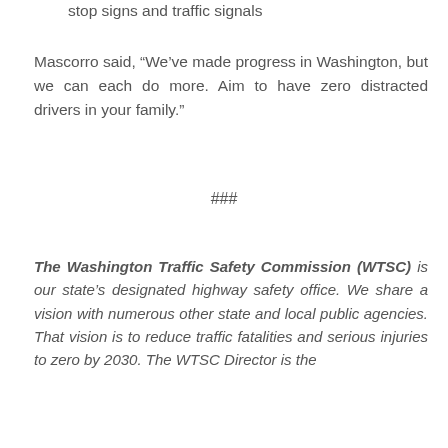stop signs and traffic signals
Mascorro said, “We’ve made progress in Washington, but we can each do more. Aim to have zero distracted drivers in your family.”
###
The Washington Traffic Safety Commission (WTSC) is our state’s designated highway safety office. We share a vision with numerous other state and local public agencies. That vision is to reduce traffic fatalities and serious injuries to zero by 2030. The WTSC Director is the...